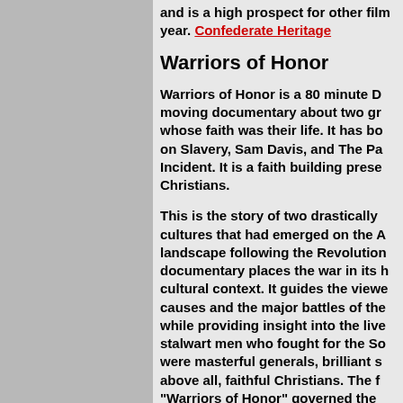and is a high prospect for other film year. Confederate Heritage
Warriors of Honor
Warriors of Honor is a 80 minute D moving documentary about two gr whose faith was their life. It has bo on Slavery, Sam Davis, and The Pa Incident. It is a faith building prese Christians.
This is the story of two drastically cultures that had emerged on the A landscape following the Revolution documentary places the war in its h cultural context. It guides the viewe causes and the major battles of the while providing insight into the live stalwart men who fought for the So were masterful generals, brilliant s above all, faithful Christians. The f "Warriors of Honor" governed the off the battlefield, and their legacie